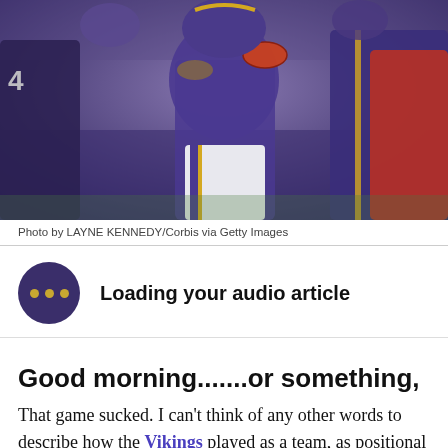[Figure (photo): Football game action photo showing Minnesota Vikings players in purple uniforms with gold stripes, a quarterback holding a football about to pass, players engaged in game action]
Photo by LAYNE KENNEDY/Corbis via Getty Images
Loading your audio article
Good morning.......or something,
That game sucked. I can't think of any other words to describe how the Vikings played as a team, as positional units, or as individuals in yesterdays' game without mentioning the word 'sucked'. To those of you